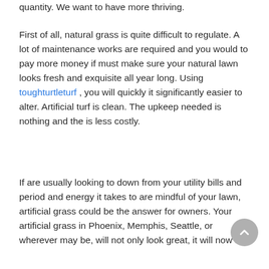quantity. We want to have more thriving.
First of all, natural grass is quite difficult to regulate. A lot of maintenance works are required and you would to pay more money if must make sure your natural lawn looks fresh and exquisite all year long. Using toughturtleturf , you will quickly it significantly easier to alter. Artificial turf is clean. The upkeep needed is nothing and the is less costly.
If are usually looking to down from your utility bills and period and energy it takes to are mindful of your lawn, artificial grass could be the answer for owners. Your artificial grass in Phoenix, Memphis, Seattle, or wherever may be, will not only look great, it will now last